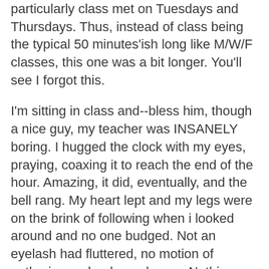The day was a Tuesday, as I recall, and that particularly class met on Tuesdays and Thursdays. Thus, instead of class being the typical 50 minutes'ish long like M/W/F classes, this one was a bit longer. You'll see I forgot this.
I'm sitting in class and--bless him, though a nice guy, my teacher was INSANELY boring. I hugged the clock with my eyes, praying, coaxing it to reach the end of the hour. Amazing, it did, eventually, and the bell rang. My heart lept and my legs were on the brink of following when i looked around and no one budged. Not an eyelash had fluttered, no motion of gathering up books and pens. Nothing. Everyone's sitting as they were, listening to the professor lecture.
What the hey? I ask myself. What is going on? Now, I am a patriot of having things end on time. I support this, fully, and when it doesn't happen, I feel a sense of duty to take it upon myself to help it happen. So, as time started going backward and my body itched to say something, I finally